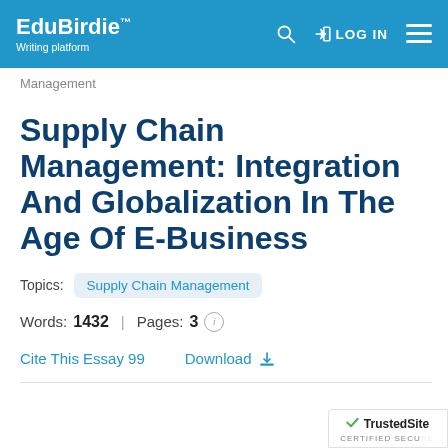EduBirdie™ Writing platform | LOG IN
Management
Supply Chain Management: Integration And Globalization In The Age Of E-Business
Topics: Supply Chain Management
Words: 1432 | Pages: 3
Cite This Essay 99   Download
[Figure (logo): TrustedSite CERTIFIED SECURE badge]